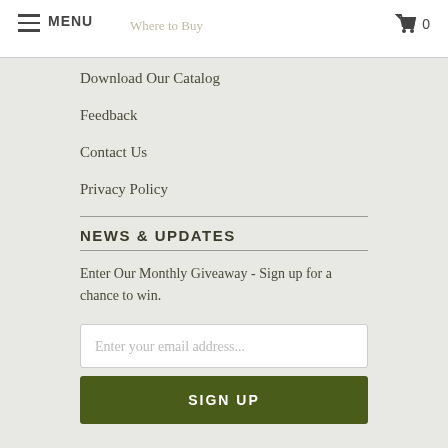MENU  Where to Buy  0
Download Our Catalog
Feedback
Contact Us
Privacy Policy
NEWS & UPDATES
Enter Our Monthly Giveaway - Sign up for a chance to win.
Enter your email address...
SIGN UP